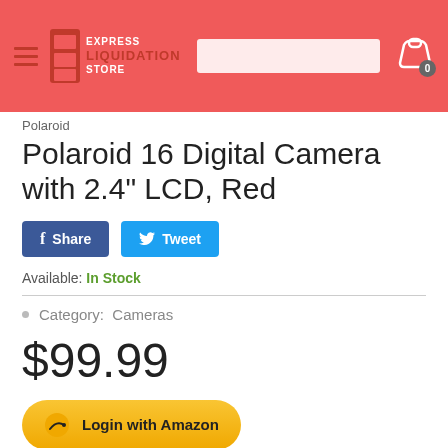[Figure (screenshot): Express Liquidation Store website header with red background, hamburger menu, logo, search box, and shopping cart icon with badge showing 0]
Polaroid
Polaroid 16 Digital Camera with 2.4" LCD, Red
[Figure (other): Facebook Share and Twitter Tweet social sharing buttons]
Available: In Stock
Category:  Cameras
$99.99
[Figure (other): Login with Amazon button]
Quantity
[Figure (other): Quantity selector input with increment and decrement buttons showing 1]